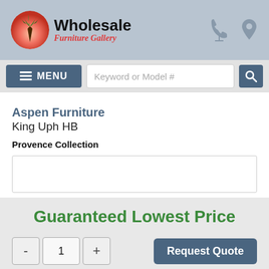Wholesale Furniture Gallery
MENU | Keyword or Model #
Aspen Furniture King Uph HB
Provence Collection
[Figure (other): Empty product image placeholder box]
Guaranteed Lowest Price
- 1 + Request Quote